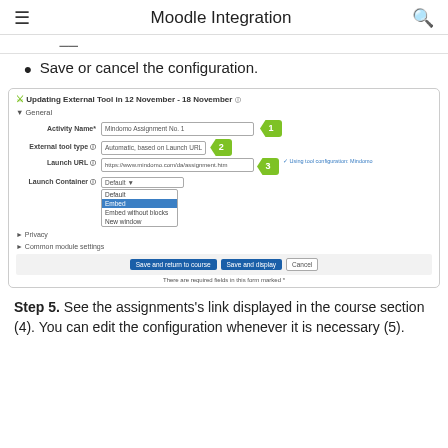Moodle Integration
Save or cancel the configuration.
[Figure (screenshot): Moodle 'Updating External Tool' form showing Activity Name field (1), External tool type field (2), Launch URL field (3), Launch Container dropdown with options Default, Embed, Embed without blocks, New window; Privacy and Common module settings sections; Save and return to course, Save and display, Cancel buttons.]
Step 5. See the assignments's link displayed in the course section (4). You can edit the configuration whenever it is necessary (5).